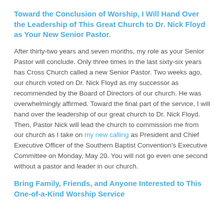Toward the Conclusion of Worship, I Will Hand Over the Leadership of This Great Church to Dr. Nick Floyd as Your New Senior Pastor.
After thirty-two years and seven months, my role as your Senior Pastor will conclude. Only three times in the last sixty-six years has Cross Church called a new Senior Pastor. Two weeks ago, our church voted on Dr. Nick Floyd as my successor as recommended by the Board of Directors of our church. He was overwhelmingly affirmed. Toward the final part of the service, I will hand over the leadership of our great church to Dr. Nick Floyd. Then, Pastor Nick will lead the church to commission me from our church as I take on my new calling as President and Chief Executive Officer of the Southern Baptist Convention's Executive Committee on Monday, May 20. You will not go even one second without a pastor and leader in our church.
Bring Family, Friends, and Anyone Interested to This One-of-a-Kind Worship Service